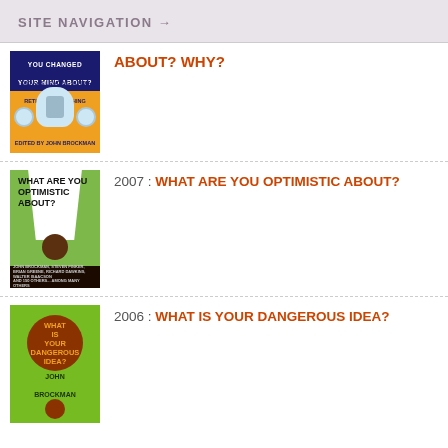SITE NAVIGATION →
ABOUT? WHY?
[Figure (illustration): Book cover: What Have You Changed Your Mind About? edited by John Brockman, orange/yellow cover with a head illustration]
2007 : WHAT ARE YOU OPTIMISTIC ABOUT?
[Figure (illustration): Book cover: What Are You Optimistic About? green cover with a white cup shape and text]
2006 : WHAT IS YOUR DANGEROUS IDEA?
[Figure (illustration): Book cover: What Is Your Dangerous Idea? by John Brockman, green cover with a bomb and orange text]